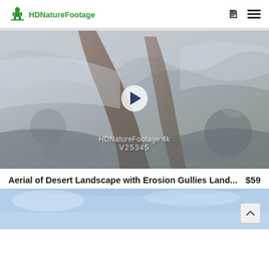HDNatureFootage
[Figure (screenshot): Aerial nature footage video thumbnail showing desert landscape with erosion gullies from above, rocky terrain with blues and tans. Overlay shows a play button circle, watermark text 'HDNatureFootage 4k' and 'V25345'.]
Aerial of Desert Landscape with Erosion Gullies Land...
$59
[Figure (photo): Bottom portion of next video thumbnail showing blue sky / water landscape.]